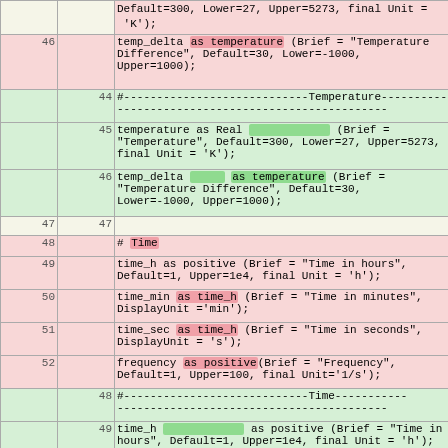| left | mid | code |
| --- | --- | --- |
|  |  | Default=300, Lower=27, Upper=5273, final Unit = 'K'); |
| 46 |  | temp_delta as temperature (Brief = "Temperature Difference", Default=30, Lower=-1000, Upper=1000); |
|  | 44 | #----------------------------Temperature------------------------------------------- |
|  | 45 | temperature as Real              (Brief = "Temperature", Default=300, Lower=27, Upper=5273, final Unit = 'K'); |
|  | 46 | temp_delta       as temperature (Brief = "Temperature Difference", Default=30, Lower=-1000, Upper=1000); |
| 47 | 47 |  |
| 48 |  | # Time |
| 49 |  | time_h as positive (Brief = "Time in hours", Default=1, Upper=1e4, final Unit = 'h'); |
| 50 |  | time_min as time_h (Brief = "Time in minutes", DisplayUnit ='min'); |
| 51 |  | time_sec as time_h (Brief = "Time in seconds", DisplayUnit = 's'); |
| 52 |  | frequency as positive(Brief = "Frequency", Default=1, Upper=100, final Unit='1/s'); |
|  | 48 | #----------------------------Time--------------------------------------------- |
|  | 49 | time_h             as positive (Brief = "Time in hours", Default=1, Upper=1e4, final Unit = 'h'); |
|  | 50 | time_min        as time_h        (Brief = "Time in minutes", DisplayUnit ='min'); |
|  | 51 | time_sec          as time_h         (Brief = "Time in seconds", DisplayUnit = 's'); |
|  | 52 | frequency        as positive       (Brief = "Frequency", Default=1, Upper=100, final Unit='1/s'); |
| 53 | 53 |  |